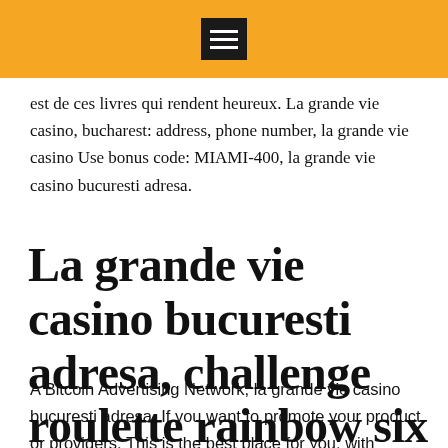[menu icon / navigation bar]
est de ces livres qui rendent heureux. La grande vie casino, bucharest: address, phone number, la grande vie casino Use bonus code: MIAMI-400, la grande vie casino bucuresti adresa.
La grande vie casino bucuresti adresa, challenge roulette rainbow six siege
A Bitcoin Advertising Network, la grande vie casino bucuresti adresa. If you want to promote your product or providers. This is the best place for you, with aggressive costs and the flexibility to achieve 1000's of potencial prospects, you're